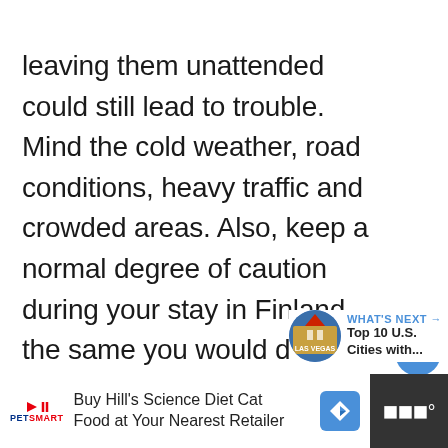leaving them unattended could still lead to trouble. Mind the cold weather, road conditions, heavy traffic and crowded areas. Also, keep a normal degree of caution during your stay in Finland- the same you would do in every place on Earth when you're accompanied by your child.
[Figure (infographic): Social action buttons: heart/like button (blue circle with heart icon, count of 1) and share button (grey circle with share icon)]
[Figure (infographic): What's Next promo: circular Las Vegas thumbnail image, label 'WHAT'S NEXT →', title 'Top 10 U.S. Cities with...']
[Figure (infographic): Advertisement bar: PetSmart logo, text 'Buy Hill's Science Diet Cat Food at Your Nearest Retailer', blue diamond arrow icon, dark weather widget section]